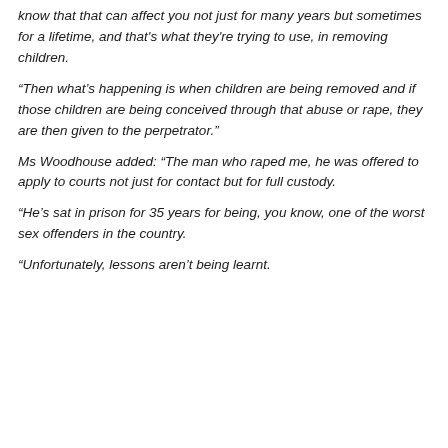know that that can affect you not just for many years but sometimes for a lifetime, and that's what they're trying to use, in removing children.
“Then what’s happening is when children are being removed and if those children are being conceived through that abuse or rape, they are then given to the perpetrator.”
Ms Woodhouse added: “The man who raped me, he was offered to apply to courts not just for contact but for full custody.
“He’s sat in prison for 35 years for being, you know, one of the worst sex offenders in the country.
“Unfortunately, lessons aren’t being learnt.